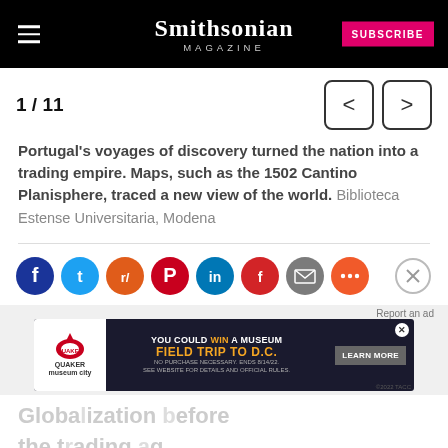Smithsonian MAGAZINE | SUBSCRIBE
1 / 11
Portugal's voyages of discovery turned the nation into a trading empire. Maps, such as the 1502 Cantino Planisphere, traced a new view of the world. Biblioteca Estense Universitaria, Modena
[Figure (infographic): Social sharing icons row: Facebook (dark blue), Twitter (light blue), Reddit (orange), Pinterest (red), LinkedIn (blue), Flipboard (red), Email (grey), More (orange-red). Close button circle on right.]
[Figure (infographic): Advertisement banner: Quaker Museum City ad – YOU COULD WIN A MUSEUM FIELD TRIP TO D.C. with LEARN MORE button. Close X icon at top right of banner.]
Globa...efore the t...g least their the com...